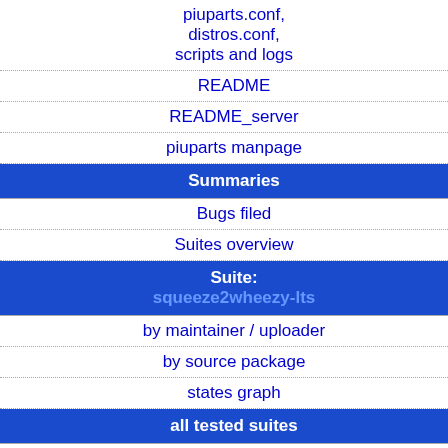| Navigation | squeeze2squeeze |
| --- | --- |
| piuparts.conf, distros.conf, scripts and logs |  |
| README |  |
| README_server |  |
| piuparts manpage |  |
| Summaries |  |
| Bugs filed |  |
| Suites overview |  |
| Suite: squeeze2wheezy-lts |  |
| by maintainer / uploader |  |
| by source package |  |
| states graph |  |
| all tested suites |  |
| experimental |  |
| sid2experimental |  |
| sid |  |
|  | squeeze2squeeze |
| --- | --- |
| fail: | 0 |
| unknown: | 0 |
| pass: | 49 |